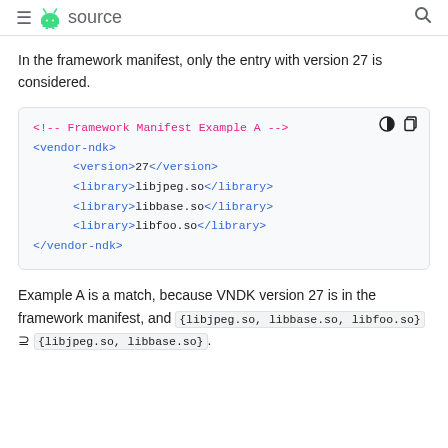≡ 🤖 source 🔍
In the framework manifest, only the entry with version 27 is considered.
[Figure (screenshot): Code block showing XML Framework Manifest Example A with vendor-ndk element containing version 27, and library entries for libjpeg.so, libbase.so, and libfoo.so]
Example A is a match, because VNDK version 27 is in the framework manifest, and {libjpeg.so, libbase.so, libfoo.so} ⊇ {libjpeg.so, libbase.so}.